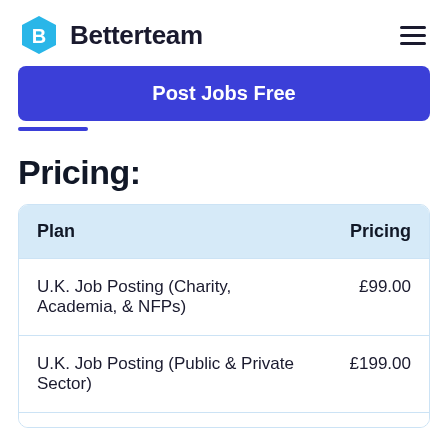Betterteam
Post Jobs Free
Pricing:
| Plan | Pricing |
| --- | --- |
| U.K. Job Posting (Charity, Academia, & NFPs) | £99.00 |
| U.K. Job Posting (Public & Private Sector) | £199.00 |